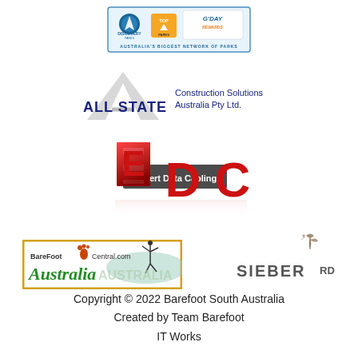[Figure (logo): Discovery Parks / Top Parks / G'Day Rewards logo with text 'AUSTRALIA'S BIGGEST NETWORK OF PARKS']
[Figure (logo): ALL STATE Construction Solutions Australia Pty Ltd. logo with large grey letter A]
[Figure (logo): EDC Expert Data Cabling logo in red 3D letters]
[Figure (logo): BareFoot Central.com Australia logo]
[Figure (logo): SIEBER RD logo with decorative floral element]
Copyright © 2022 Barefoot South Australia
Created by Team Barefoot
IT Works